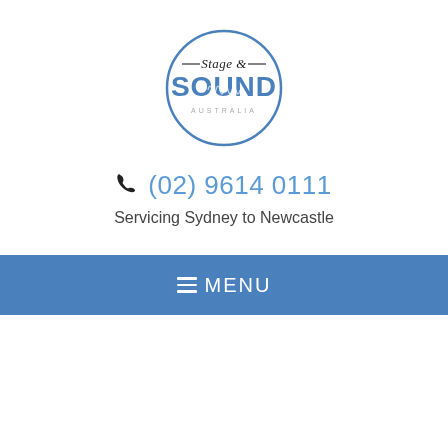[Figure (logo): Stage & Sound Australia circular logo with blue text and waveform graphic]
(02) 9614 0111
Servicing Sydney to Newcastle
≡ MENU